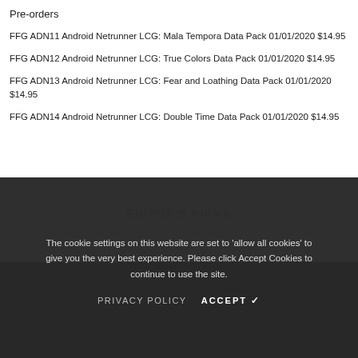Pre-orders
FFG ADN11 Android Netrunner LCG: Mala Tempora Data Pack 01/01/2020 $14.95
FFG ADN12 Android Netrunner LCG: True Colors Data Pack 01/01/2020 $14.95
FFG ADN13 Android Netrunner LCG: Fear and Loathing Data Pack 01/01/2020 $14.95
FFG ADN14 Android Netrunner LCG: Double Time Data Pack 01/01/2020 $14.95
EDITOR'S PICKS
The cookie settings on this website are set to 'allow all cookies' to give you the very best experience. Please click Accept Cookies to continue to use the site.
PRIVACY POLICY   ACCEPT ✔